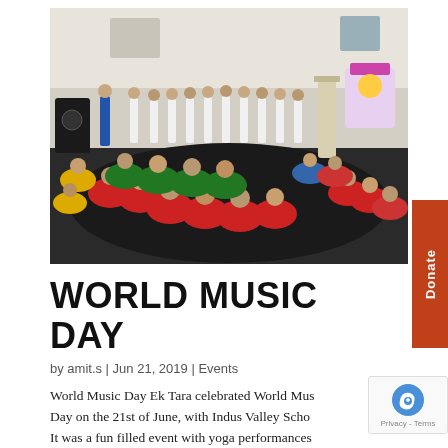[Figure (photo): Children in colorful uniforms (red, green, yellow, white) sitting on a dark floor in a large hall, watching a performance or presentation. A group of students stands in a circle in the background, with adults and a decorated stand visible.]
WORLD MUSIC DAY
by amit.s | Jun 21, 2019 | Events
World Music Day Ek Tara celebrated World Music Day on the 21st of June, with Indus Valley Scho It was a fun filled event with yoga performances